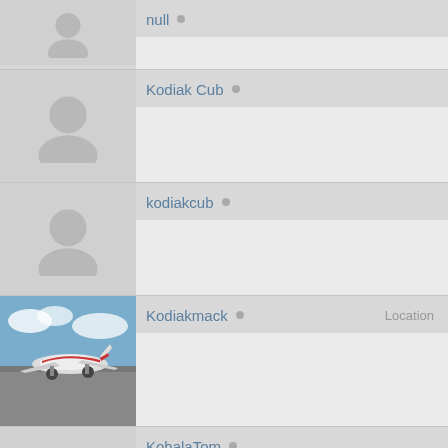null
Kodiak Cub
kodiakcub
Kodiakmack  Location
KohalaTom
KootenayKub
Krick
krines